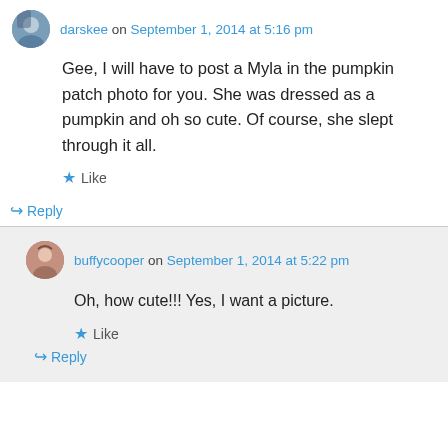darskee on September 1, 2014 at 5:16 pm
Gee, I will have to post a Myla in the pumpkin patch photo for you. She was dressed as a pumpkin and oh so cute. Of course, she slept through it all.
Like
Reply
buffycooper on September 1, 2014 at 5:22 pm
Oh, how cute!!! Yes, I want a picture.
Like
Reply